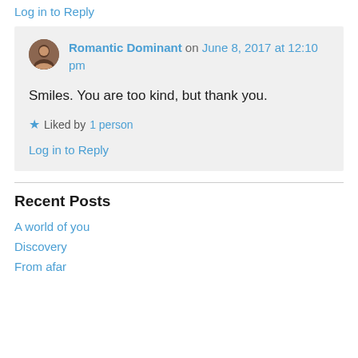Log in to Reply
Romantic Dominant on June 8, 2017 at 12:10 pm
Smiles. You are too kind, but thank you.
Liked by 1 person
Log in to Reply
Recent Posts
A world of you
Discovery
From afar